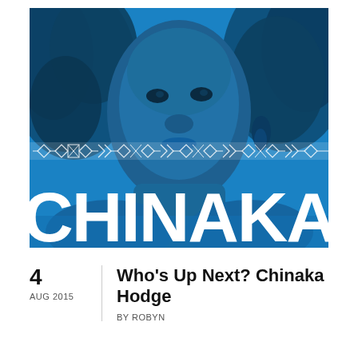[Figure (photo): Blue-tinted portrait photo of Chinaka Hodge with large text 'CHINAKA' overlaid in white at the bottom, and a decorative geometric pattern band across the middle. Subject has natural curly hair and hoop earrings.]
4
AUG 2015
Who's Up Next? Chinaka Hodge
BY ROBYN